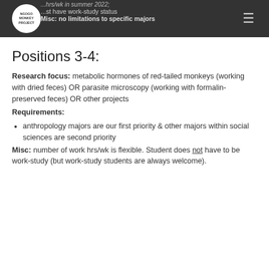...hrs/wk in summer 2022; ...st have work-study status; Misc: no limitations to specific majors
Positions 3-4:
Research focus: metabolic hormones of red-tailed monkeys (working with dried feces) OR parasite microscopy (working with formalin-preserved feces) OR other projects
Requirements:
anthropology majors are our first priority & other majors within social sciences are second priority
Misc: number of work hrs/wk is flexible. Student does not have to be work-study (but work-study students are always welcome).